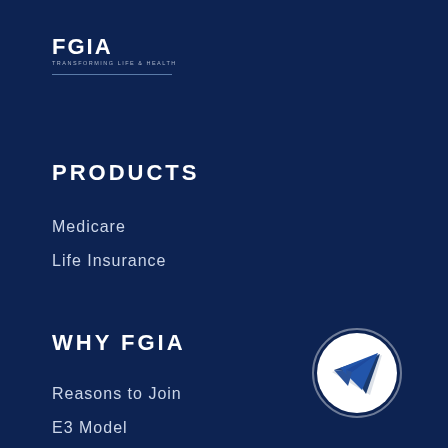[Figure (logo): FGIA logo with text 'FGIA' in bold and tagline 'TRANSFORMING LIFE & HEALTH' below, followed by a horizontal rule]
PRODUCTS
Medicare
Life Insurance
WHY FGIA
Reasons to Join
E3 Model
[Figure (illustration): White circle with a blue paper plane / send icon inside, glowing white border effect]